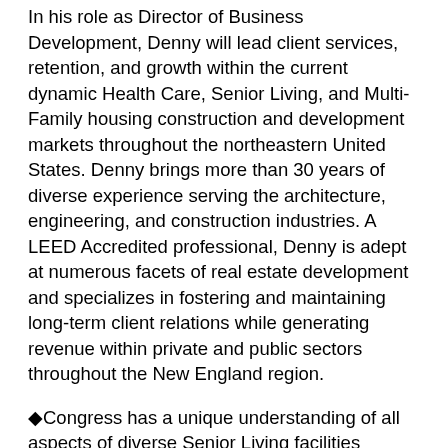In his role as Director of Business Development, Denny will lead client services, retention, and growth within the current dynamic Health Care, Senior Living, and Multi-Family housing construction and development markets throughout the northeastern United States. Denny brings more than 30 years of diverse experience serving the architecture, engineering, and construction industries. A LEED Accredited professional, Denny is adept at numerous facets of real estate development and specializes in fostering and maintaining long-term client relations while generating revenue within private and public sectors throughout the New England region.
◆Congress has a unique understanding of all aspects of diverse Senior Living facilities development that I have not witnessed in my career. Their exceptional knowledge of HUD program funding requirements, and alternative financing options, coupled with their dedication to providing exceptional value to their clients throughout every phase of a project◆s development is unsurpassed within our industry. It was a clear choice for me to join Congress and be a part of a highly professional team,◆ said Denny.
Before joining the Congress team, Denny held the role of